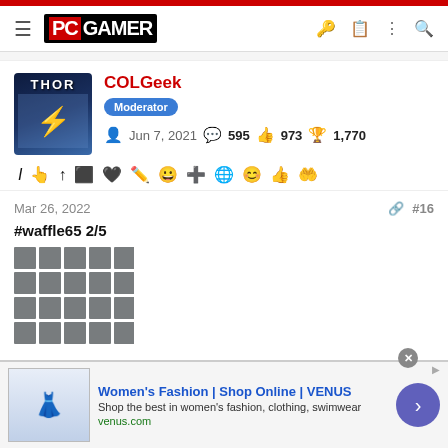PC GAMER
COLGeek
Moderator
Jun 7, 2021  595  973  1,770
Mar 26, 2022  #16
#waffle65 2/5
[Figure (other): Wordle-style colored grid showing game result squares in gray/green/yellow]
Women's Fashion | Shop Online | VENUS
Shop the best in women's fashion, clothing, swimwear
venus.com